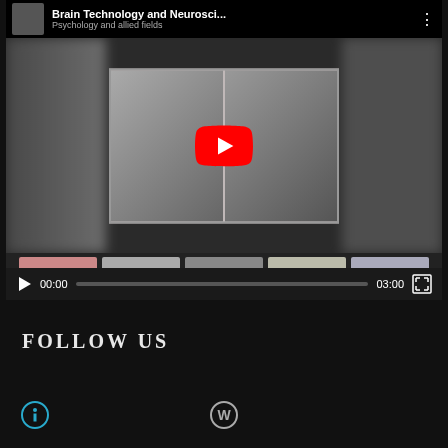[Figure (screenshot): YouTube video player showing 'Brain Technology and Neurosci...' with subtitle 'Psychology and allied fields'. The player shows a thumbnail of a person wearing an EEG cap and MRI imagery. A red YouTube play button is centered on the video. Below the preview are chapter thumbnails, a progress bar showing 00:00 to 03:00, play button, and fullscreen icon.]
FOLLOW US
[Figure (logo): Creative Commons attribution icon (circle with i) on the bottom left]
[Figure (logo): WordPress logo (circle with W) in the bottom center]